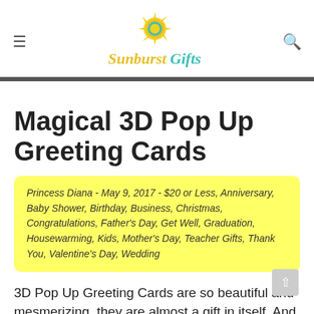Sunburst Gifts
Magical 3D Pop Up Greeting Cards
Princess Diana - May 9, 2017 - $20 or Less, Anniversary, Baby Shower, Birthday, Business, Christmas, Congratulations, Father's Day, Get Well, Graduation, Housewarming, Kids, Mother's Day, Teacher Gifts, Thank You, Valentine's Day, Wedding
3D Pop Up Greeting Cards are so beautiful and mesmerizing, they are almost a gift in itself. And they're definitely keepsakes!